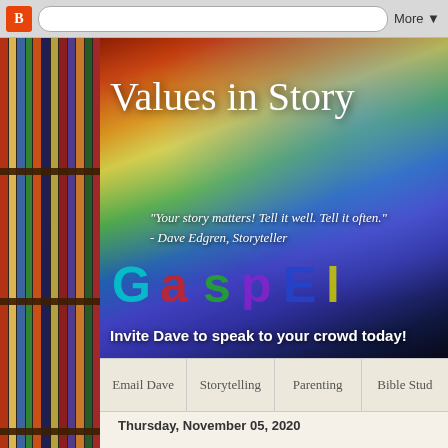[Figure (screenshot): Browser chrome bar with Blogger icon, search bar, and More button]
[Figure (photo): Bookshelf sidebar with colorful book spines]
[Figure (photo): Hero banner with colorful blurred background showing 'Values in Story' blog header, quote by Dave Edgren, GOSPEL letters, and invitation text]
Email Dave | Storytelling | Parenting | Bible Stud...
Thursday, November 05, 2020
Just Believe - Children's Book